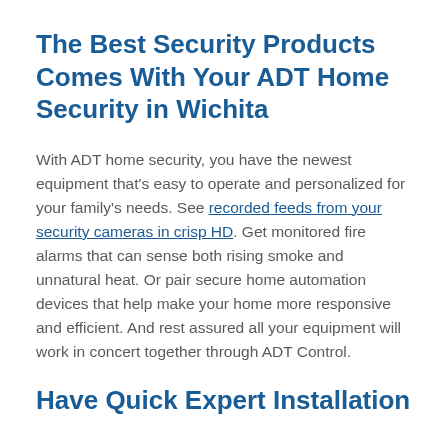The Best Security Products Comes With Your ADT Home Security in Wichita
With ADT home security, you have the newest equipment that's easy to operate and personalized for your family's needs. See recorded feeds from your security cameras in crisp HD. Get monitored fire alarms that can sense both rising smoke and unnatural heat. Or pair secure home automation devices that help make your home more responsive and efficient. And rest assured all your equipment will work in concert together through ADT Control.
Have Quick Expert Installation